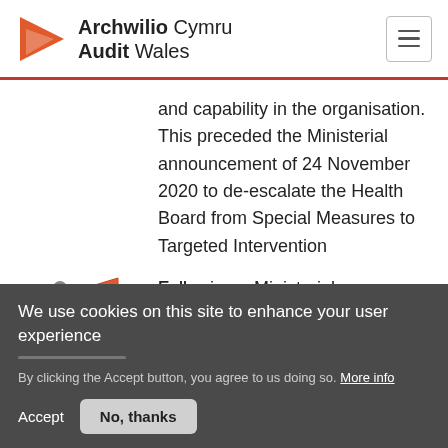[Figure (logo): Archwilio Cymru Audit Wales logo with orange triangle/arrow on left and text on right]
and capability in the organisation. This preceded the Ministerial announcement of 24 November 2020 to de-escalate the Health Board from Special Measures to Targeted Intervention
[Figure (illustration): Orange megaphone/loudspeaker icon]
Following a Ministerial Direction instructing
Privacy settings
We use cookies on this site to enhance your user experience
By clicking the Accept button, you agree to us doing so. More info
Accept
No, thanks